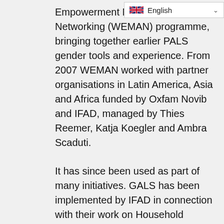Empowerment Mainstreaming and Networking (WEMAN) programme, bringing together earlier PALS gender tools and experience. From 2007 WEMAN worked with partner organisations in Latin America, Asia and Africa funded by Oxfam Novib and IFAD, managed by Thies Reemer, Katja Koegler and Ambra Scaduti.
It has since been used as part of many initiatives. GALS has been implemented by IFAD in connection with their work on Household Methodologies in very many other countries. This includes processes in Sierra Leone, and as part of the RWEE process in Kyrgyzstan and Nepal (managed